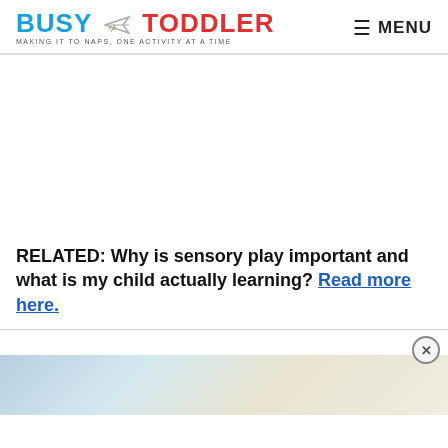BUSY TODDLER — MAKING IT TO NAPS, ONE ACTIVITY AT A TIME | MENU
[Figure (other): Advertisement blank area]
RELATED: Why is sensory play important and what is my child actually learning? Read more here.
[Figure (photo): Partial image at bottom of page with close button overlay]